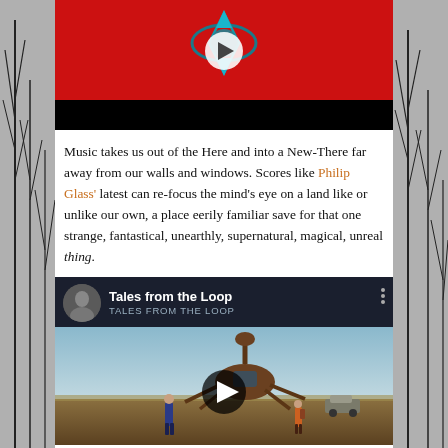[Figure (screenshot): Top video thumbnail: red background with abstract blue eye/diamond logo and white play button, black bar at bottom]
Music takes us out of the Here and into a New-There far away from our walls and windows. Scores like Philip Glass' latest can re-focus the mind's eye on a land like or unlike our own, a place eerily familiar save for that one strange, fantastical, unearthly, supernatural, magical, unreal thing.
[Figure (screenshot): YouTube video embed: Tales from the Loop - dark blue header with avatar photo of older man, title 'Tales from the Loop / TALES FROM THE LOOP', thumbnail showing two figures standing before a large mechanical spider-like structure in a field, play button overlay]